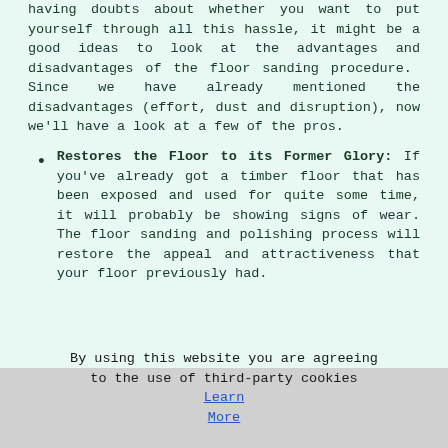having doubts about whether you want to put yourself through all this hassle, it might be a good ideas to look at the advantages and disadvantages of the floor sanding procedure. Since we have already mentioned the disadvantages (effort, dust and disruption), now we'll have a look at a few of the pros.
Restores the Floor to its Former Glory: If you've already got a timber floor that has been exposed and used for quite some time, it will probably be showing signs of wear. The floor sanding and polishing process will restore the appeal and attractiveness that your floor previously had.
By using this website you are agreeing to the use of third-party cookies Learn More OK